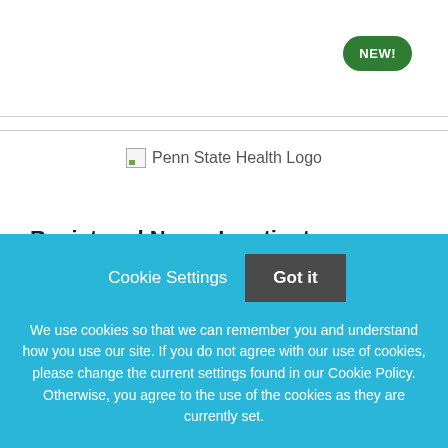[Figure (logo): Penn State Health Logo — broken image placeholder with alt text 'Penn State Health Logo']
Registered Nurse Inpatient - Telemetry Care Unit 8 West
Penn State Health
Cookie Settings   Got it
We use cookies so that we can remember you and understand how you use our site. If you do not agree with our use of cookies, please change the current settings found in our Cookie Policy. Otherwise, you agree to the use of the cookies as they are currently set.